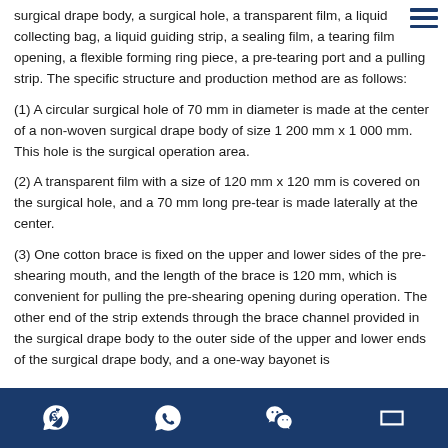surgical drape body, a surgical hole, a transparent film, a liquid collecting bag, a liquid guiding strip, a sealing film, a tearing film opening, a flexible forming ring piece, a pre-tearing port and a pulling strip. The specific structure and production method are as follows:
(1) A circular surgical hole of 70 mm in diameter is made at the center of a non-woven surgical drape body of size 1 200 mm x 1 000 mm. This hole is the surgical operation area.
(2) A transparent film with a size of 120 mm x 120 mm is covered on the surgical hole, and a 70 mm long pre-tear is made laterally at the center.
(3) One cotton brace is fixed on the upper and lower sides of the pre-shearing mouth, and the length of the brace is 120 mm, which is convenient for pulling the pre-shearing opening during operation. The other end of the strip extends through the brace channel provided in the surgical drape body to the outer side of the upper and lower ends of the surgical drape body, and a one-way bayonet is
Skype | WhatsApp | WeChat | Email